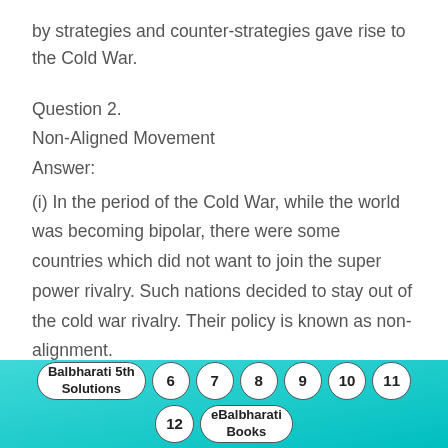by strategies and counter-strategies gave rise to the Cold War.
Question 2.
Non-Aligned Movement
Answer:
(i) In the period of the Cold War, while the world was becoming bipolar, there were some countries which did not want to join the super power rivalry. Such nations decided to stay out of the cold war rivalry. Their policy is known as non-alignment.
(ii) The Asian and African countries, which became
Balbharati 5th Solutions  6  7  8  9  10  11  12  eBalbharati Books